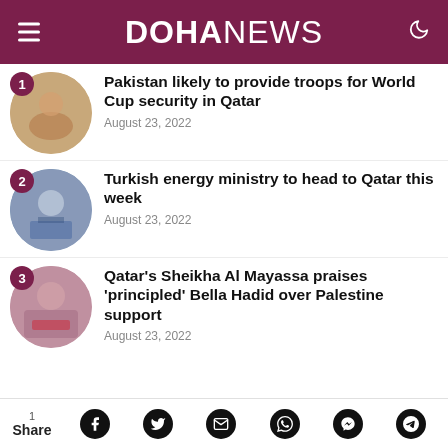DOHA NEWS
Pakistan likely to provide troops for World Cup security in Qatar — August 23, 2022
Turkish energy ministry to head to Qatar this week — August 23, 2022
Qatar's Sheikha Al Mayassa praises 'principled' Bella Hadid over Palestine support — August 23, 2022
1 Share — social share icons: Facebook, Twitter, Email, WhatsApp, Messenger, Telegram